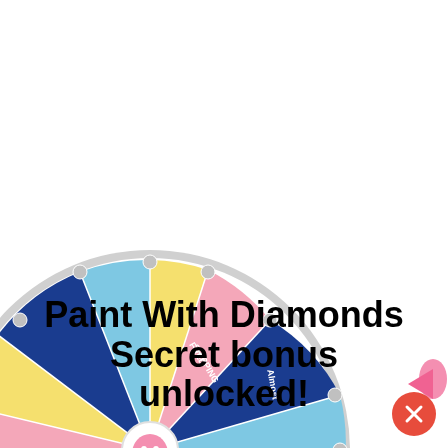[Figure (illustration): A colorful prize/lucky wheel (spin wheel) partially visible, cropped. The wheel has multiple colored segments: blue, pink, yellow, light blue, each containing text labels like 'FREE SHIPPING', 'FREE KIT (Buy 1 Free)', '30% OFF', '50% OFF', '20%', 'Almost', 'Sorry!', etc. The wheel has a white/gray outer ring with round pegs. A cartoon pink diamond character is visible at the center bottom of the wheel. A pink arrow cursor is at the right side. A red close (X) button is in the bottom right corner.]
Paint With Diamonds Secret bonus unlocked!